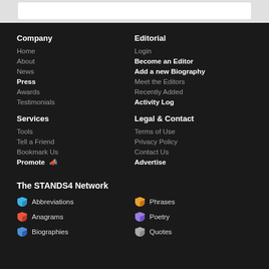Company
Home
About
News
Press
Awards
Testimonials
Editorial
Login
Become an Editor
Add a new Biography
Meet the Editors
Recently Added
Activity Log
Services
Tools
Tell a Friend
Bookmark Us
Promote
Legal & Contact
Terms of Use
Privacy Policy
Contact Us
Advertise
The STANDS4 Network
Abbreviations
Anagrams
Biographies
Phrases
Poetry
Quotes